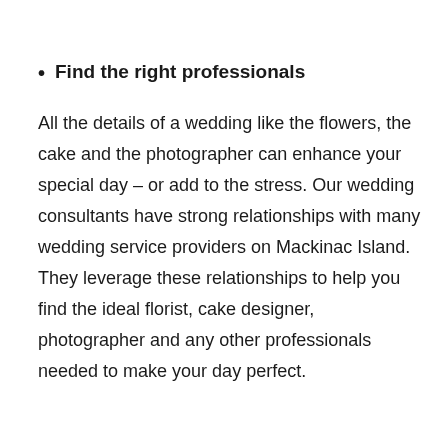Find the right professionals
All the details of a wedding like the flowers, the cake and the photographer can enhance your special day – or add to the stress. Our wedding consultants have strong relationships with many wedding service providers on Mackinac Island. They leverage these relationships to help you find the ideal florist, cake designer, photographer and any other professionals needed to make your day perfect.